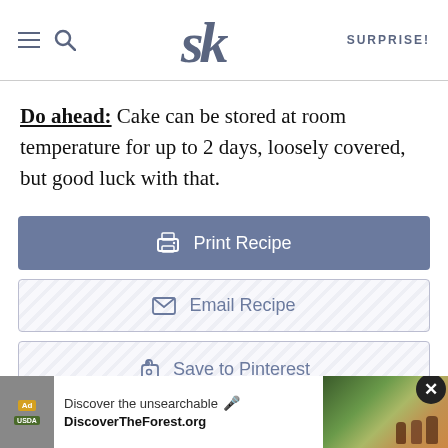SK logo header with hamburger menu, search, and SURPRISE! link
Do ahead: Cake can be stored at room temperature for up to 2 days, loosely covered, but good luck with that.
[Figure (screenshot): Print Recipe button (blue-grey solid button with printer icon)]
[Figure (screenshot): Email Recipe button (outlined hatched button with envelope icon)]
[Figure (screenshot): Save to Pinterest button (outlined hatched button with P icon)]
Related
[Figure (screenshot): Ad banner: Discover the unsearchable / DiscoverTheForest.org with close button and forest photo]